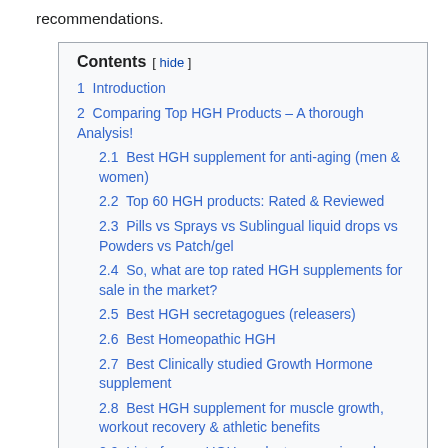recommendations.
Contents
1  Introduction
2  Comparing Top HGH Products – A thorough Analysis!
2.1  Best HGH supplement for anti-aging (men & women)
2.2  Top 60 HGH products: Rated & Reviewed
2.3  Pills vs Sprays vs Sublingual liquid drops vs Powders vs Patch/gel
2.4  So, what are top rated HGH supplements for sale in the market?
2.5  Best HGH secretagogues (releasers)
2.6  Best Homeopathic HGH
2.7  Best Clinically studied Growth Hormone supplement
2.8  Best HGH supplement for muscle growth, workout recovery & athletic benefits
2.9  List of some HGH products we reviewed